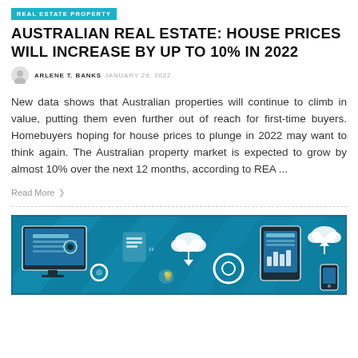REAL ESTATE PROPERTY
AUSTRALIAN REAL ESTATE: HOUSE PRICES WILL INCREASE BY UP TO 10% IN 2022
ARLENE T. BANKS  JANUARY 29, 2022
New data shows that Australian properties will continue to climb in value, putting them even further out of reach for first-time buyers. Homebuyers hoping for house prices to plunge in 2022 may want to think again. The Australian property market is expected to grow by almost 10% over the next 12 months, according to REA ...
Read More ❯
[Figure (illustration): Blue-themed technology infographic illustration showing a desktop computer with a gear icon and web interface, connected to cloud icons, gears, a tablet showing charts, and other digital/tech icons on a dark teal background with diagonal light streaks.]